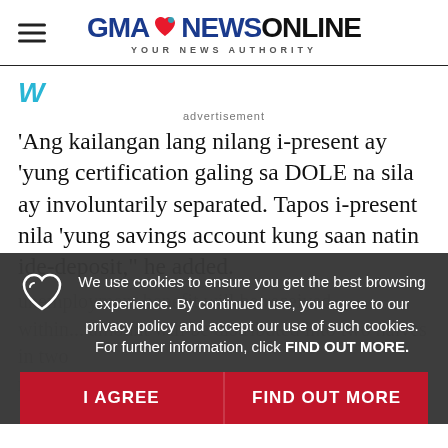GMA NEWS ONLINE — YOUR NEWS AUTHORITY
[Figure (logo): Weather widget W icon in teal/cyan color]
advertisement
'Ang kailangan lang nilang i-present ay 'yung certification galing sa DOLE na sila ay involuntarily separated. Tapos i-present nila 'yung savings account kung saan natin ide-deposit,' he added.
unemployment benefit will be received within... amount will be distributed into two halves in two m...
We use cookies to ensure you get the best browsing experience. By continued use, you agree to our privacy policy and accept our use of such cookies. For further information, click FIND OUT MORE.
I AGREE   FIND OUT MORE